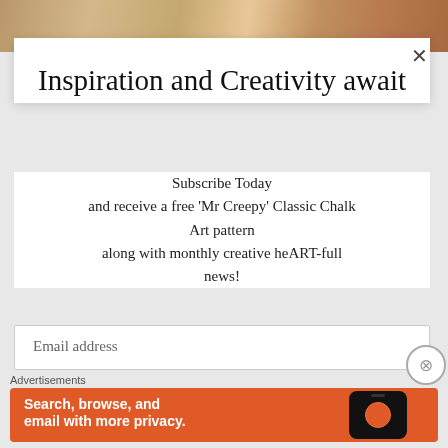[Figure (photo): Background photo strip showing colorful art/paint supplies]
Inspiration and Creativity await
Subscribe Today and receive a free 'Mr Creepy' Classic Chalk Art pattern along with monthly creative heART-full news!
Email address
Advertisements
[Figure (screenshot): DuckDuckGo advertisement banner: Search, browse, and email with more privacy. All in One Free App. Shows phone with DuckDuckGo logo.]